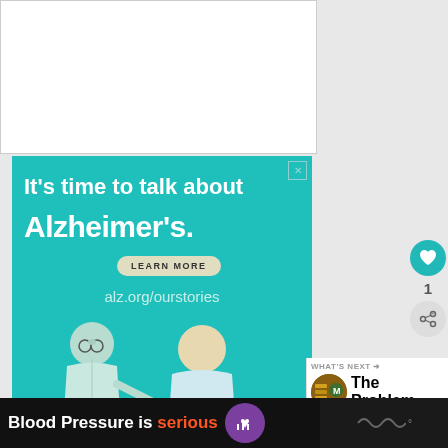[Figure (photo): People sitting in a circle around a drum outdoors]
Photo by Bob Uhl
[Figure (infographic): Alzheimer's Association advertisement: It's time to talk about Alzheimer's. LEARN MORE. alz.org/ourstories. Illustrated figures of two elderly people talking.]
[Figure (infographic): Blood Pressure is serious advertisement banner with purple heart logo]
[Figure (infographic): WHAT'S NEXT arrow: The Problem With Native... with circular thumbnail image]